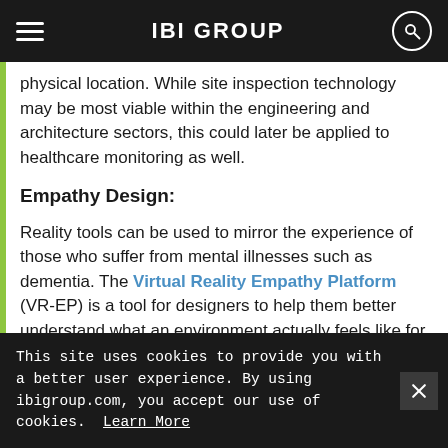IBI GROUP
physical location. While site inspection technology may be most viable within the engineering and architecture sectors, this could later be applied to healthcare monitoring as well.
Empathy Design:
Reality tools can be used to mirror the experience of those who suffer from mental illnesses such as dementia. The Virtual Reality Empathy Platform (VR-EP) is a tool for designers to help them better understand what an environment actually feels like for someone who has dementia. Empathy tools allow designers to work more accurately and responsibly for clients, which can in turn aid the end users in ...
This site uses cookies to provide you with a better user experience. By using ibigroup.com, you accept our use of cookies. Learn More